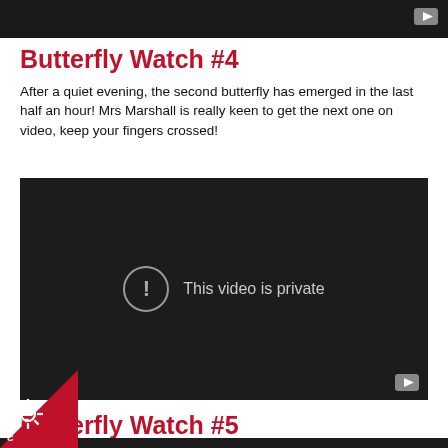[Figure (screenshot): Top portion of a YouTube video player, dark background with YouTube play button icon in top right corner]
Butterfly Watch #4
After a quiet evening, the second butterfly has emerged in the last half an hour! Mrs Marshall is really keen to get the next one on video, keep your fingers crossed!
[Figure (screenshot): Embedded YouTube video player showing 'This video is private' message with exclamation icon on dark background, YouTube button in bottom right]
Butterfly Watch #5
Introducing our newest hatchee! 🦋